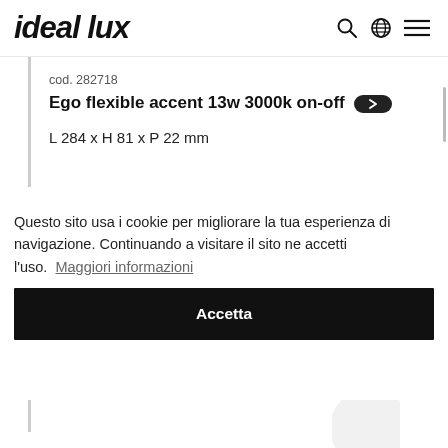ideal lux
cod. 282718
Ego flexible accent 13w 3000k on-off
L 284 x H 81 x P 22 mm
Questo sito usa i cookie per migliorare la tua esperienza di navigazione. Continuando a visitare il sito ne accetti l'uso. Maggiori informazioni
Accetta